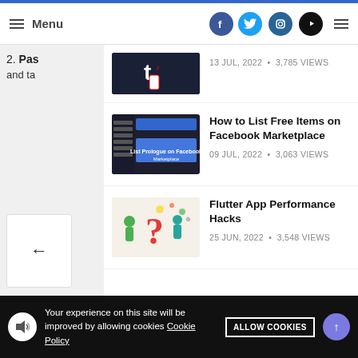Menu (with social icons: Facebook, Twitter, Instagram, YouTube)
[Figure (screenshot): Partial article card with dark thumbnail image, date: 13 JUL, 2022, 3,785 VIEWS]
2. Pas... and ta...
[Figure (screenshot): Article card - How to List Free Items on Facebook Marketplace, 09 JUL, 2022, 3,063 VIEWS]
How to List Free Items on Facebook Marketplace
09 JUL, 2022 • 3,063 VIEWS
[Figure (illustration): Article card - Flutter App Performance Hacks, illustration with question mark and people, 25 JUN, 2022, 3,548 VIEWS]
Flutter App Performance Hacks
25 JUN, 2022 • 3,548 VIEWS
Your experience on this site will be improved by allowing cookies Cookie Policy ALLOW COOKIES